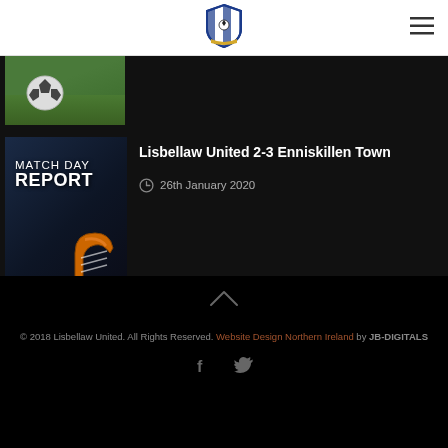Lisbellaw United FC - Header with logo and navigation
[Figure (photo): Partially visible soccer ball on green grass field]
[Figure (photo): Match Day Report image with orange football boots on dark blue background]
Lisbellaw United 2-3 Enniskillen Town
26th January 2020
© 2018 Lisbellaw United. All Rights Reserved. Website Design Northern Ireland by JB-DIGITALS